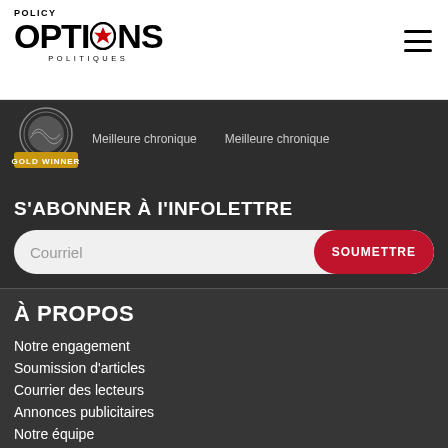POLICY OPTIONS POLITIQUES
[Figure (logo): Policy Options Politiques logo with maple leaf replacing the O]
Meilleure chronique   Meilleure chronique
[Figure (illustration): Gold Winner award badge]
S'ABONNER À I'INFOLETTRE
Courriel
SOUMETTRE
À PROPOS
Notre engagement
Soumission d'articles
Courrier des lecteurs
Annonces publicitaires
Notre équipe